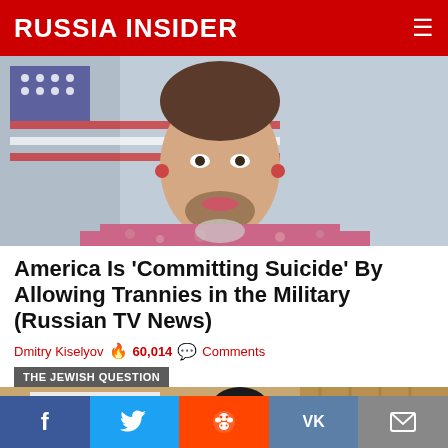RUSSIA INSIDER
[Figure (photo): Close-up photo of a person with facial hair wearing pink floral clothing, with an American flag visible in background]
America Is 'Committing Suicide' By Allowing Trannies in the Military (Russian TV News)
Dmitry Kiselyov  60,014  Comments
THE JEWISH QUESTION
[Figure (photo): A woman in a pink top standing at a podium with an Israeli flag visible on the left and tan curtains in the background]
f  Twitter  Reddit  VK  Email